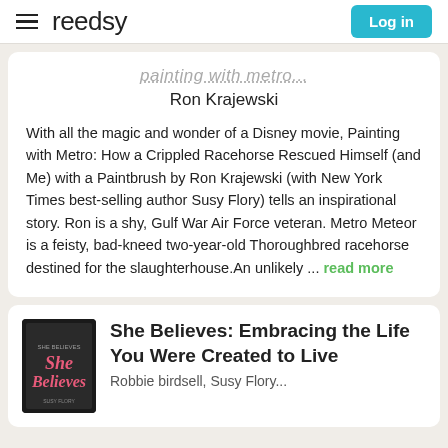reedsy | Log in
[partially visible title]
Ron Krajewski
With all the magic and wonder of a Disney movie, Painting with Metro: How a Crippled Racehorse Rescued Himself (and Me) with a Paintbrush by Ron Krajewski (with New York Times best-selling author Susy Flory) tells an inspirational story. Ron is a shy, Gulf War Air Force veteran. Metro Meteor is a feisty, bad-kneed two-year-old Thoroughbred racehorse destined for the slaughterhouse.An unlikely ... read more
She Believes: Embracing the Life You Were Created to Live
Robbie birdsell, Susy Flory...